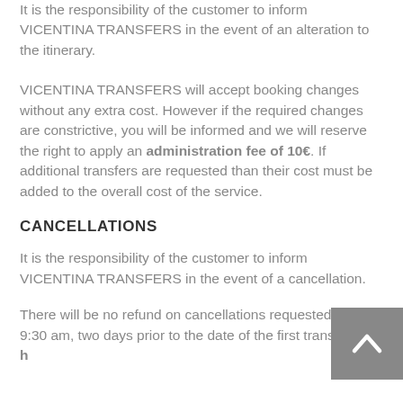It is the responsibility of the customer to inform VICENTINA TRANSFERS in the event of an alteration to the itinerary.
VICENTINA TRANSFERS will accept booking changes without any extra cost. However if the required changes are constrictive, you will be informed and we will reserve the right to apply an administration fee of 10€. If additional transfers are requested than their cost must be added to the overall cost of the service.
CANCELLATIONS
It is the responsibility of the customer to inform VICENTINA TRANSFERS in the event of a cancellation.
There will be no refund on cancellations requested after 9:30 am, two days prior to the date of the first transfer (48 h